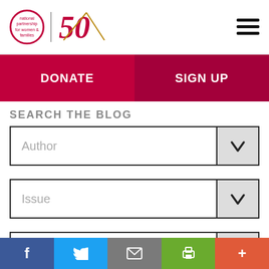[Figure (logo): National Partnership for Women & Families logo with 50th anniversary badge]
DONATE
SIGN UP
SEARCH THE BLOG
Author
Issue
Date Range
f  Twitter  Email  Print  +